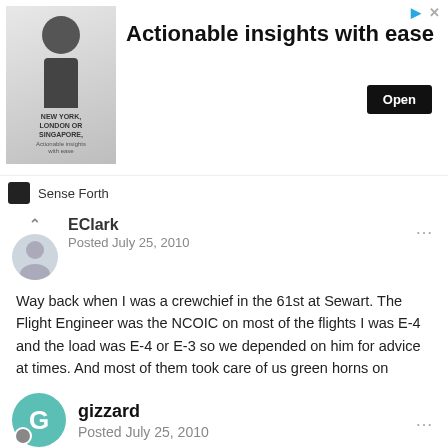[Figure (screenshot): Advertisement banner: image of a man in a suit with text 'NEW YORK, LONDON OR SINGAPORE', headline 'Actionable insights with ease', Open button, Sense Forth brand logo]
EClark
Posted July 25, 2010
Way back when I was a crewchief in the 61st at Sewart. The Flight Engineer was the NCOIC on most of the flights I was E-4 and the load was E-4 or E-3 so we depended on him for advice at times. And most of them took care of us green horns on TDY'S. So I say Hats Off the Flt.Eng.
+ Quote
gizzard
Posted July 25, 2010